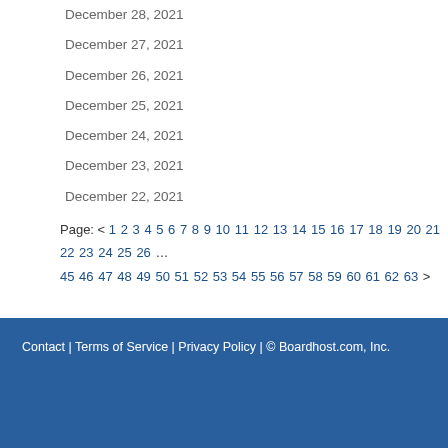December 28, 2021
December 27, 2021
December 26, 2021
December 25, 2021
December 24, 2021
December 23, 2021
December 22, 2021
Page: < 1 2 3 4 5 6 7 8 9 10 11 12 13 14 15 16 17 18 19 20 21 22 23 24 25 26 ... 45 46 47 48 49 50 51 52 53 54 55 56 57 58 59 60 61 62 63 >
Contact | Terms of Service | Privacy Policy | © Boardhost.com, Inc.